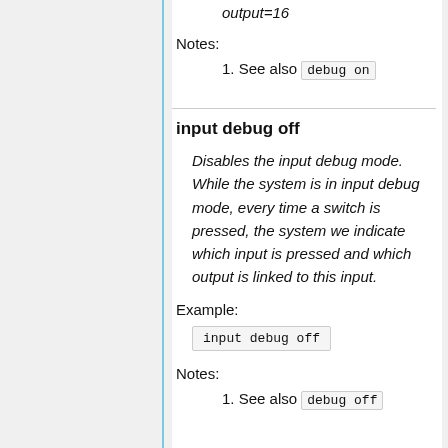output=16
Notes:
1. See also debug on
input debug off
Disables the input debug mode. While the system is in input debug mode, every time a switch is pressed, the system we indicate which input is pressed and which output is linked to this input.
Example:
input debug off
Notes:
1. See also debug off